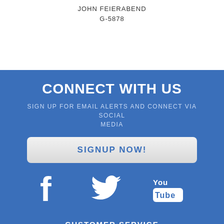JOHN FEIERABEND
G-5878
CONNECT WITH US
SIGN UP FOR EMAIL ALERTS AND CONNECT VIA SOCIAL MEDIA
SIGNUP NOW!
[Figure (illustration): Facebook, Twitter, and YouTube social media icons in white on blue background]
CUSTOMER SERVICE
ABOUT US
MEET THE STAFF